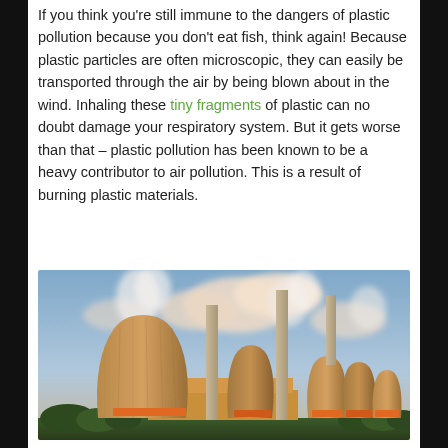If you think you're still immune to the dangers of plastic pollution because you don't eat fish, think again! Because plastic particles are often microscopic, they can easily be transported through the air by being blown about in the wind. Inhaling these tiny fragments of plastic can no doubt damage your respiratory system. But it gets worse than that – plastic pollution has been known to be a heavy contributor to air pollution. This is a result of burning plastic materials.
[Figure (photo): Industrial power plant with large cooling towers and tall chimneys emitting steam/smoke against a cloudy sky at sunset]